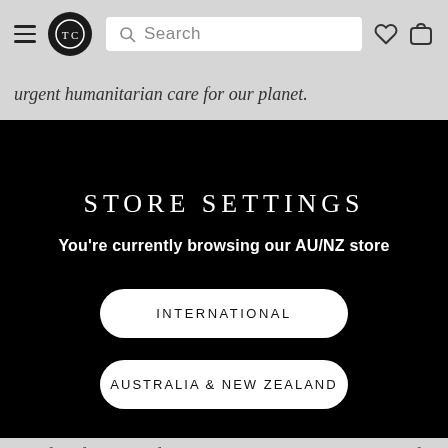[Figure (screenshot): Navigation bar with hamburger menu, circular logo, search bar, heart icon and bag icon on grey background]
urgent humanitarian care for our planet.
STORE SETTINGS
You're currently browsing our AU/NZ store
INTERNATIONAL
AUSTRALIA & NEW ZEALAND
The first full moon for 2020 is the cardinal water sign of Cancer, governed by its natural ruler, the